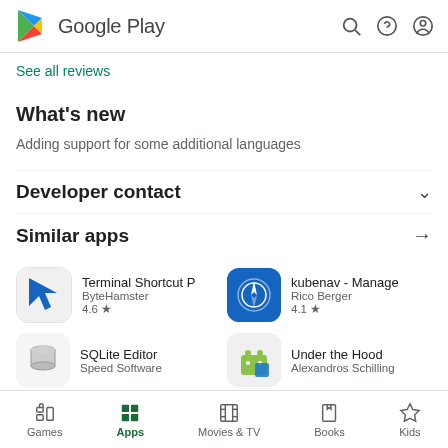Google Play
See all reviews
What's new
Adding support for some additional languages
Developer contact
Similar apps
Terminal Shortcut P
ByteHamster
4.6 ★
kubenav - Manage
Rico Berger
4.1 ★
SQLite Editor
Speed Software
Under the Hood
Alexandros Schilling
Games  Apps  Movies & TV  Books  Kids